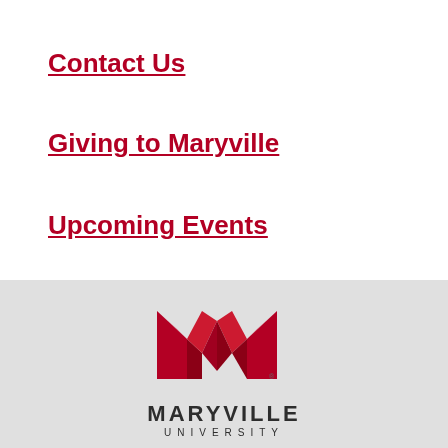Contact Us
Giving to Maryville
Upcoming Events
[Figure (logo): Maryville University logo: a red geometric M shape above the text MARYVILLE UNIVERSITY]